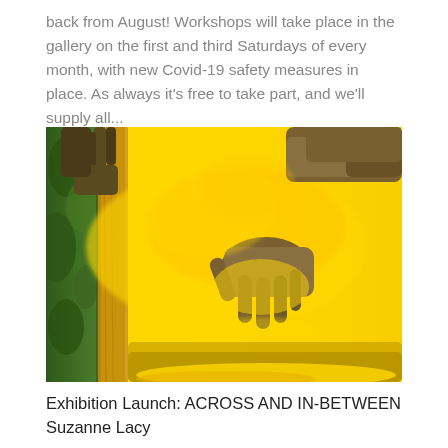back from August! Workshops will take place in the gallery on the first and third Saturdays of every month, with new Covid-19 safety measures in place. As always it's free to take part, and we'll supply all...
[Figure (photo): A hand reaching over a yellow wooden fence or wall, covered in bright yellow powder/dust, with green vegetation visible on the left side. The scene is dominated by vivid yellow colour.]
Exhibition Launch: ACROSS AND IN-BETWEEN Suzanne Lacy